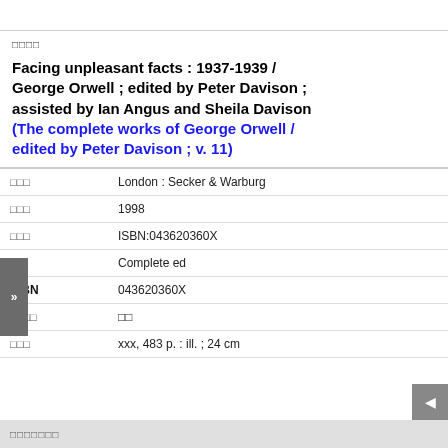□□□□
Facing unpleasant facts : 1937-1939 / George Orwell ; edited by Peter Davison ; assisted by Ian Angus and Sheila Davison (The complete works of George Orwell / edited by Peter Davison ; v. 11)
| Label | Value |
| --- | --- |
| □□□ | London : Secker & Warburg |
| □□□ | 1998 |
| □□□ | ISBN:043620360X |
| □ | Complete ed |
| ISBN | 043620360X |
| □□□□ | □□ |
| □□□ | xxx, 483 p. : ill. ; 24 cm |
□□□□□□□